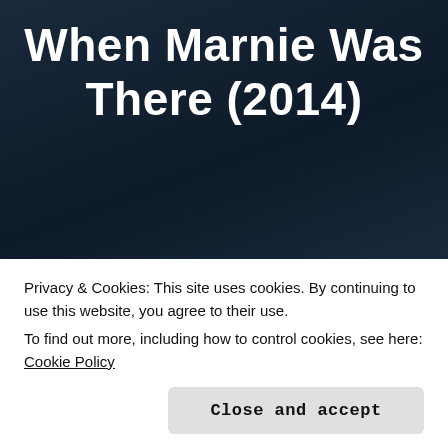When Marnie Was There (2014)
Hiromasa Yonebayashi’s second Ghibli film is another favorite of mine. It is a character drama with a few interesting elements to it that are best seen for yourself so you can enjoy how the story unfolds, too. When Marnie Was There is another of the many Ghibli films based on books, and I have since gotten the
Privacy & Cookies: This site uses cookies. By continuing to use this website, you agree to their use.
To find out more, including how to control cookies, see here: Cookie Policy
Close and accept
and tries to understand what brings them together.